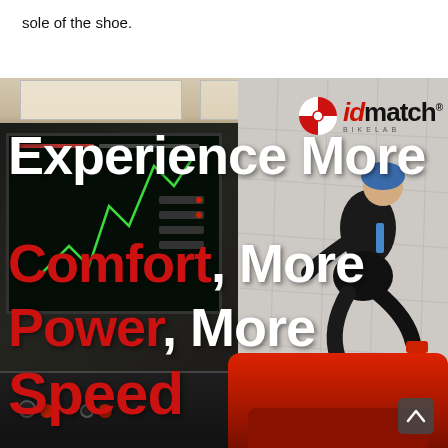sole of the shoe.
[Figure (photo): Photo of a cycling biomechanics lab (idmatch BIKELAB) showing a cyclist on a red trainer/treadmill device on the right side and a computer monitor display on the left with green motion-capture lines. The idmatch logo with red/white circular emblem appears in the upper right. Overlaid on the photo is large bold white text reading 'Experience More' and bold red text 'Comfort, More Power, More Speed'.]